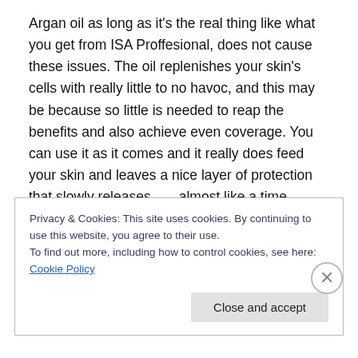Argan oil as long as it's the real thing like what you get from ISA Proffesional, does not cause these issues. The oil replenishes your skin's cells with really little to no havoc, and this may be because so little is needed to reap the benefits and also achieve even coverage. You can use it as it comes and it really does feed your skin and leaves a nice layer of protection that slowly releases……almost like a time release capsule! I get breakouts from time to time and especially from fragrances, but never from Argan oil and this is even where you may be experiencing such issues like the chest, chin, t-zone, or anywhere. Don't
Privacy & Cookies: This site uses cookies. By continuing to use this website, you agree to their use.
To find out more, including how to control cookies, see here: Cookie Policy
Close and accept